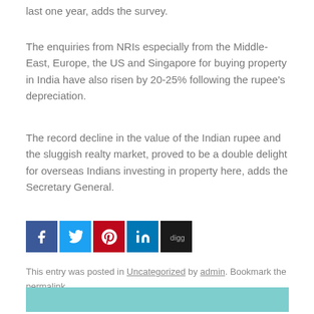last one year, adds the survey.
The enquiries from NRIs especially from the Middle-East, Europe, the US and Singapore for buying property in India have also risen by 20-25% following the rupee’s depreciation.
The record decline in the value of the Indian rupee and the sluggish realty market, proved to be a double delight for overseas Indians investing in property here, adds the Secretary General.
[Figure (infographic): Social sharing icons: Facebook (blue), Twitter (light blue), Pinterest (red), LinkedIn (blue), Digg (black)]
This entry was posted in Uncategorized by admin. Bookmark the permalink.
[Figure (other): Teal/turquoise colored rectangle block at the bottom of the page]